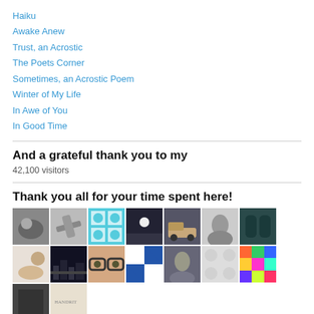Haiku
Awake Anew
Trust, an Acrostic
The Poets Corner
Sometimes, an Acrostic Poem
Winter of My Life
In Awe of You
In Good Time
And a grateful thank you to my
42,100 visitors
Thank you all for your time spent here!
[Figure (photo): Grid of visitor profile photos/thumbnails]